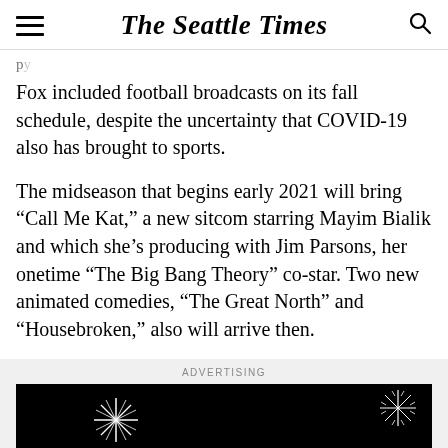The Seattle Times
Fox included football broadcasts on its fall schedule, despite the uncertainty that COVID-19 also has brought to sports.
The midseason that begins early 2021 will bring “Call Me Kat,” a new sitcom starring Mayim Bialik and which she’s producing with Jim Parsons, her onetime “The Big Bang Theory” co-star. Two new animated comedies, “The Great North” and “Housebroken,” also will arrive then.
ADVERTISING
[Figure (photo): Black advertisement banner with white star/starburst graphics and text reading THE ORIGINAL]